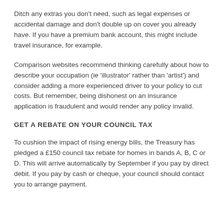Ditch any extras you don't need, such as legal expenses or accidental damage and don't double up on cover you already have. If you have a premium bank account, this might include travel insurance, for example.
Comparison websites recommend thinking carefully about how to describe your occupation (ie 'illustrator' rather than 'artist') and consider adding a more experienced driver to your policy to cut costs. But remember, being dishonest on an insurance application is fraudulent and would render any policy invalid.
GET A REBATE ON YOUR COUNCIL TAX
To cushion the impact of rising energy bills, the Treasury has pledged a £150 council tax rebate for homes in bands A, B, C or D. This will arrive automatically by September if you pay by direct debit. If you pay by cash or cheque, your council should contact you to arrange payment.